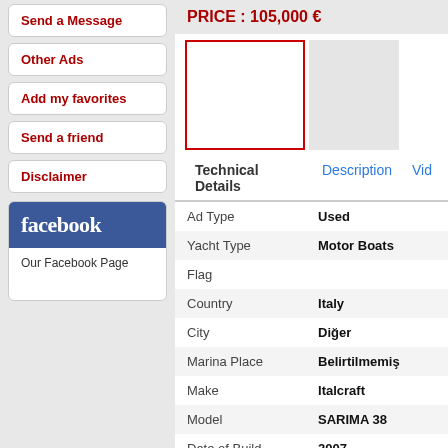Send a Message
Other Ads
Add my favorites
Send a friend
Disclaimer
[Figure (logo): Facebook logo banner with text 'Our Facebook Page']
PRICE : 105,000 €
[Figure (photo): Boat listing main photo placeholder with red border, and secondary image placeholder]
Technical Details | Description | Vid
| Field | Value |
| --- | --- |
| Ad Type | Used |
| Yacht Type | Motor Boats |
| Flag |  |
| Country | Italy |
| City | Diğer |
| Marina Place | Belirtilmemiş |
| Make | Italcraft |
| Model | SARIMA 38 |
| Date of Build | 2007 |